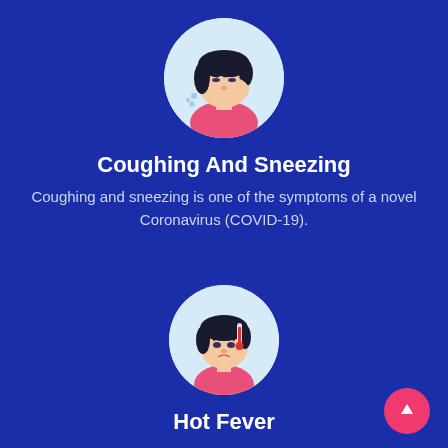[Figure (illustration): Circular illustration of a person coughing/sneezing, covering face with hand, wearing a pink top, on a light blue background]
Coughing And Sneezing
Coughing and sneezing is one of the symptoms of a novel Coronavirus (COVID-19).
[Figure (illustration): Circular illustration of a person with fever, thermometer on forehead, wearing a pink top, on a light blue background]
Hot Fever
Hot Fever is one of the symptoms of a novel